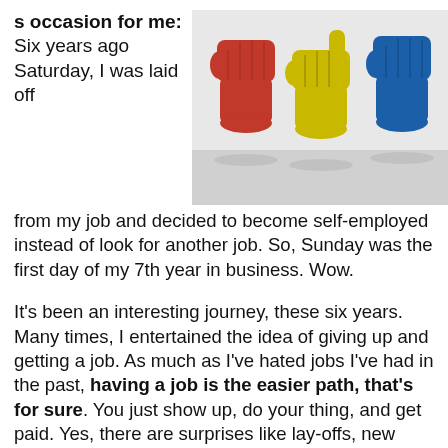s occasion for me: Six years ago Saturday, I was laid off from my job and decided to become self-employed instead of look for another job. So, Sunday was the first day of my 7th year in business. Wow.
[Figure (photo): Three ceramic hand/fist figurines in red, yellow, and blue colors, sitting on a white surface]
It's been an interesting journey, these six years. Many times, I entertained the idea of giving up and getting a job. As much as I've hated jobs I've had in the past, having a job is the easier path, that's for sure. You just show up, do your thing, and get paid. Yes, there are surprises like lay-offs, new sucky bosses, and the ever-present blooming-idiot co-workers, but you put up with it all knowing there's a paycheck coming at the end of the pay